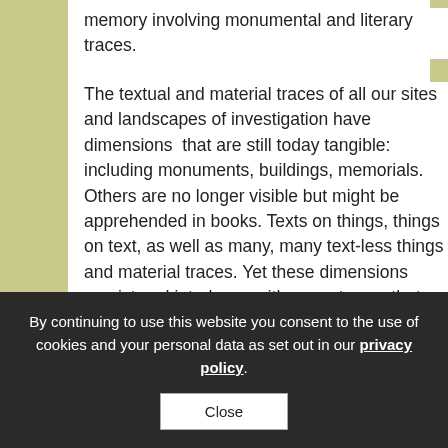memory involving monumental and literary traces.
The textual and material traces of all our sites and landscapes of investigation have dimensions  that are still today tangible: including monuments, buildings, memorials. Others are no longer visible but might be apprehended in books. Texts on things, things on text, as well as many, many text-less things and material traces. Yet these dimensions persist and interleave with many traces that are now hidden, stories that are only known indirectly, many intangible dimensions and facets.
By continuing to use this website you consent to the use of cookies and your personal data as set out in our privacy policy.
Close